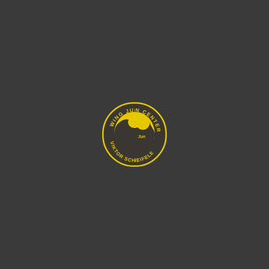[Figure (logo): Wing Jun Center Viktor Scheifele circular logo in yellow on dark background. Features a yin-yang style design with 'WJ' initials and 'Wing Jun' text inside the circle. Circular text reads 'WING JUN CENTER' on top and 'VIKTOR SCHEIFELE' on bottom.]